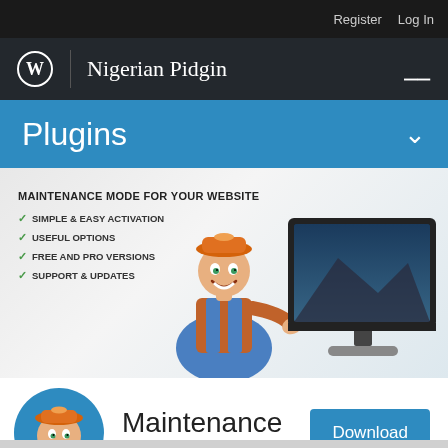Register  Log In
Nigerian Pidgin
Plugins
[Figure (illustration): Maintenance mode plugin promotional banner showing a cartoon worker in orange overalls and hard hat with feature bullets: MAINTENANCE MODE FOR YOUR WEBSITE, SIMPLE & EASY ACTIVATION, USEFUL OPTIONS, FREE AND PRO VERSIONS, SUPPORT & UPDATES, and a monitor display on the right]
[Figure (illustration): Circular icon of cartoon maintenance worker (hard hat, orange shirt) for the Maintenance plugin]
Maintenance
By WebFactory Ltd
Download